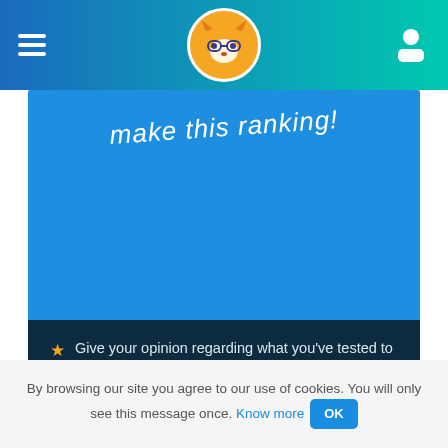[Figure (screenshot): Navigation bar with hamburger menu icon on left, fox logo in center, user icon on right, gradient blue-teal background]
make this ranking!
Give your opinion regarding what you've tested to impact this ranking
Add non-listed sites you like
Modify the pages to keep this ranking updated
Get referrals for your favorite sites in return for your participation
By browsing our site you agree to our use of cookies. You will only see this message once. Know more OK